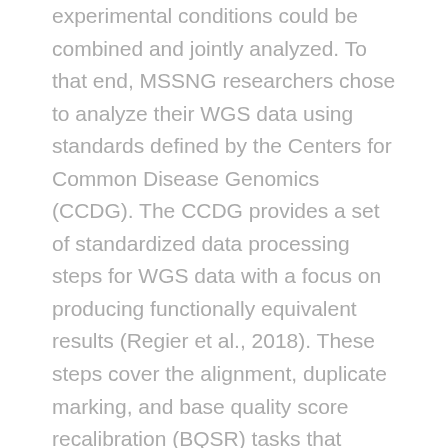experimental conditions could be combined and jointly analyzed. To that end, MSSNG researchers chose to analyze their WGS data using standards defined by the Centers for Common Disease Genomics (CCDG). The CCDG provides a set of standardized data processing steps for WGS data with a focus on producing functionally equivalent results (Regier et al., 2018). These steps cover the alignment, duplicate marking, and base quality score recalibration (BQSR) tasks that convert the raw FASTQ data to CRAM-format alignment files that may be used for long-term storage and future reanalysis (Figure 1).